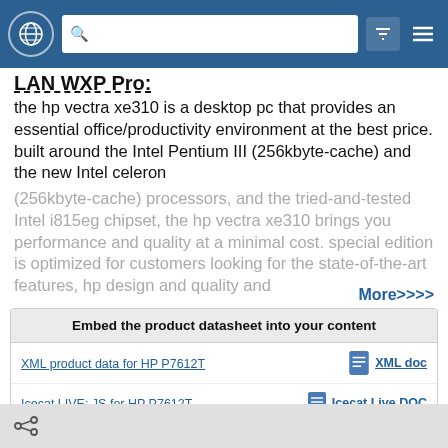Navigation bar with globe icon, search bar, filter and menu icons
LAN WXP Pro:
the hp vectra xe310 is a desktop pc that provides an essential office/productivity environment at the best price. built around the Intel Pentium III (256kbyte-cache) and the new Intel celeron (256kbyte-cache) processors, and the tried-and-tested Intel i815eg chipset, the hp vectra xe310 brings you performance and quality at a minimal cost. special edition is optimized for customers looking for the state-of-the-art features, hp design and quality and
More>>>>
Embed the product datasheet into your content
XML product data for HP P7612T | XML doc
Icecat LIVE: JS for HP P7612T | Icecat Live DOC
JSON product data for HP P7612T | JSON DOC
CSV product data for HP P7612T | CSV DOC
Download images pack